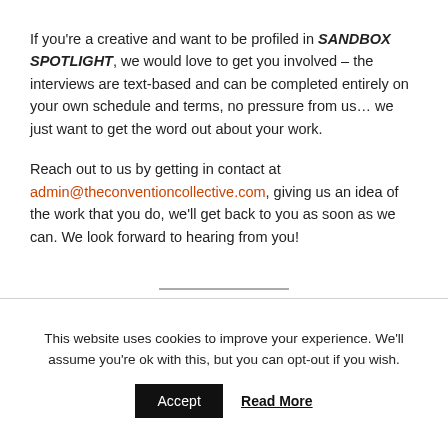If you're a creative and want to be profiled in SANDBOX SPOTLIGHT, we would love to get you involved – the interviews are text-based and can be completed entirely on your own schedule and terms, no pressure from us… we just want to get the word out about your work.
Reach out to us by getting in contact at admin@theconventioncollective.com, giving us an idea of the work that you do, we'll get back to you as soon as we can. We look forward to hearing from you!
This website uses cookies to improve your experience. We'll assume you're ok with this, but you can opt-out if you wish.